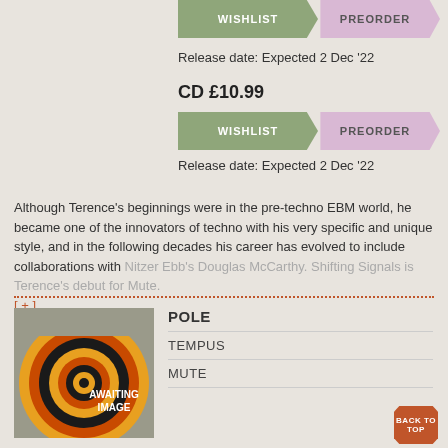[Figure (other): WISHLIST and PREORDER arrow buttons - sage green and lavender]
Release date: Expected 2 Dec '22
CD  £10.99
[Figure (other): WISHLIST and PREORDER arrow buttons - sage green and lavender]
Release date: Expected 2 Dec '22
Although Terence's beginnings were in the pre-techno EBM world, he became one of the innovators of techno with his very specific and unique style, and in the following decades his career has evolved to include collaborations with Nitzer Ebb's Douglas McCarthy. Shifting Signals is Terence's debut for Mute. [+]
[Figure (illustration): Awaiting Image placeholder with concentric circles in yellow, orange, black on grey background]
POLE
TEMPUS
MUTE